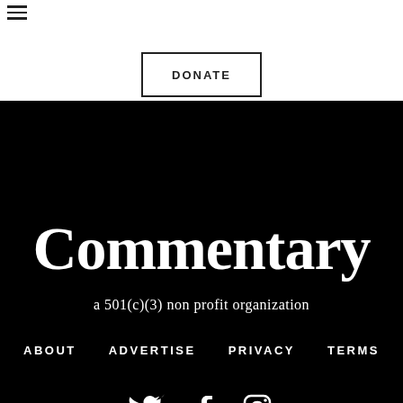[Figure (other): White donate button on white background with hamburger menu icon]
Commentary
a 501(c)(3) non profit organization
ABOUT   ADVERTISE   PRIVACY   TERMS
[Figure (other): Social media icons: Twitter bird, Facebook f, Instagram camera]
SITE DESIGN BY BECK & STONE